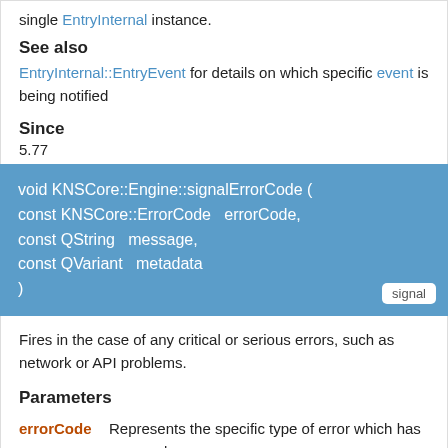single EntryInternal instance.
See also
EntryInternal::EntryEvent for details on which specific event is being notified
Since
5.77
void KNSCore::Engine::signalErrorCode (
const KNSCore::ErrorCode &  errorCode,
const QString &  message,
const QVariant &  metadata
)
signal
Fires in the case of any critical or serious errors, such as network or API problems.
Parameters
| Parameter | Description |
| --- | --- |
| errorCode | Represents the specific type of error which has occurred |
| message | A human-readable message which can be shown to the end user |